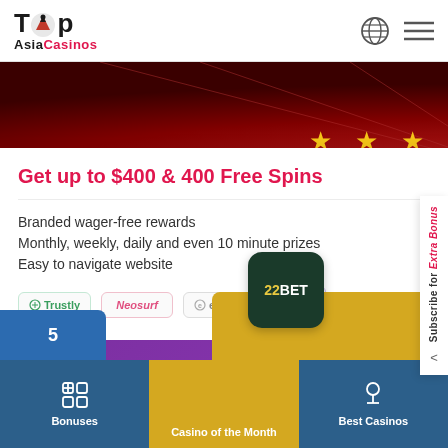Top Asia Casinos
[Figure (screenshot): Red decorative casino banner with gold stars]
Get up to $400 & 400 Free Spins
Branded wager-free rewards
Monthly, weekly, daily and even 10 minute prizes
Easy to navigate website
[Figure (logo): Payment method logos: Trustly, Neosurf, ecoPayz, plus more]
To The Casino
Subscribe for Extra Bonus
[Figure (logo): 22BET casino logo]
Bonuses
Casino of the Month
Best Casinos